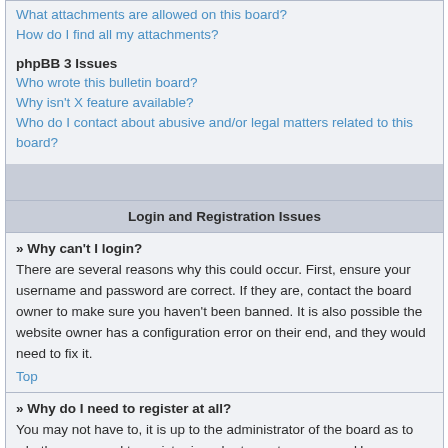What attachments are allowed on this board?
How do I find all my attachments?
phpBB 3 Issues
Who wrote this bulletin board?
Why isn't X feature available?
Who do I contact about abusive and/or legal matters related to this board?
Login and Registration Issues
» Why can't I login?
There are several reasons why this could occur. First, ensure your username and password are correct. If they are, contact the board owner to make sure you haven't been banned. It is also possible the website owner has a configuration error on their end, and they would need to fix it.
Top
» Why do I need to register at all?
You may not have to, it is up to the administrator of the board as to whether you need to register in order to post messages. However; registration will give you access to additional features not available to guest users such as definable avatar images, private messaging, emailing of fellow users, usergroup subscription, etc. It